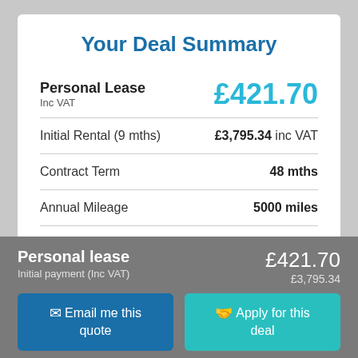Your Deal Summary
| Item | Value |
| --- | --- |
| Personal Lease Inc VAT | £421.70 |
| Initial Rental (9 mths) | £3,795.34 inc VAT |
| Contract Term | 48 mths |
| Annual Mileage | 5000 miles |
| Maintenance | Not Included |
Personal lease
Initial payment (Inc VAT)
£421.70
£3,795.34
Email me this quote
Apply for this deal